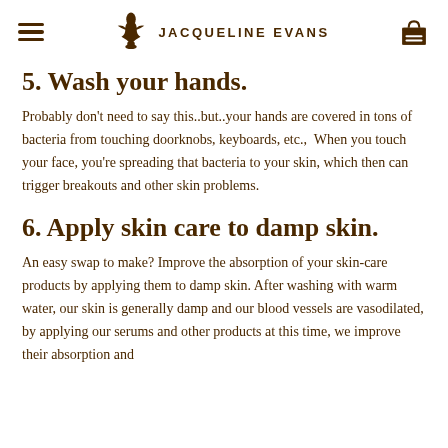JACQUELINE EVANS
5. Wash your hands.
Probably don't need to say this..but..your hands are covered in tons of bacteria from touching doorknobs, keyboards, etc.,  When you touch your face, you're spreading that bacteria to your skin, which then can trigger breakouts and other skin problems.
6. Apply skin care to damp skin.
An easy swap to make? Improve the absorption of your skin-care products by applying them to damp skin. After washing with warm water, our skin is generally damp and our blood vessels are vasodilated, by applying our serums and other products at this time, we improve their absorption and